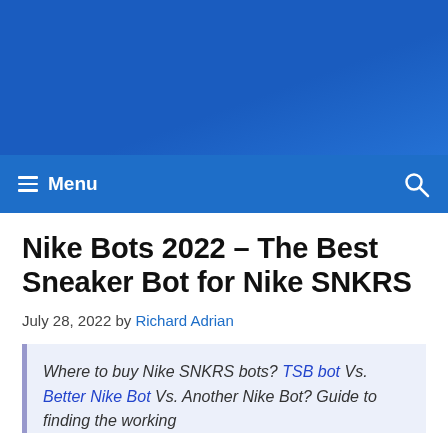[Figure (other): Blue website header banner background]
≡ Menu  🔍
Nike Bots 2022 – The Best Sneaker Bot for Nike SNKRS
July 28, 2022 by Richard Adrian
Where to buy Nike SNKRS bots? TSB bot Vs. Better Nike Bot Vs. Another Nike Bot? Guide to finding the working